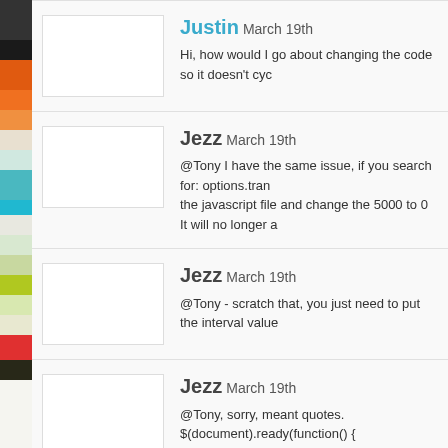Justin March 19th
Hi, how would I go about changing the code so it doesn't cyc
Jezz March 19th
@Tony I have the same issue, if you search for: options.tran in the javascript file and change the 5000 to 0 It will no longer a
Jezz March 19th
@Tony - scratch that, you just need to put the interval value
Jezz March 19th
@Tony, sorry, meant quotes. $(document).ready(function() { transition_interval : '0', start_item : 1 }); });